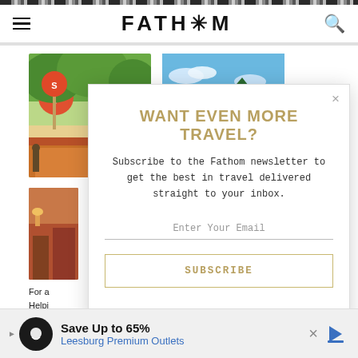FATH*M
[Figure (photo): Retro diner or roadside stand with trees and signage]
[Figure (photo): Mountain lake with sailboat and green hills under blue sky]
[Figure (photo): Partial photo partially obscured by modal]
For a
Helpi
Nosta
This (
Upsta
WANT EVEN MORE TRAVEL?
Subscribe to the Fathom newsletter to get the best in travel delivered straight to your inbox.
Enter Your Email
SUBSCRIBE
[Figure (infographic): Advertisement: Save Up to 65% Leesburg Premium Outlets]